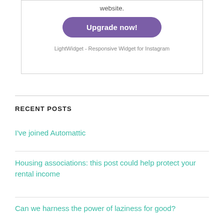website.
Upgrade now!
LightWidget - Responsive Widget for Instagram
RECENT POSTS
I've joined Automattic
Housing associations: this post could help protect your rental income
Can we harness the power of laziness for good?